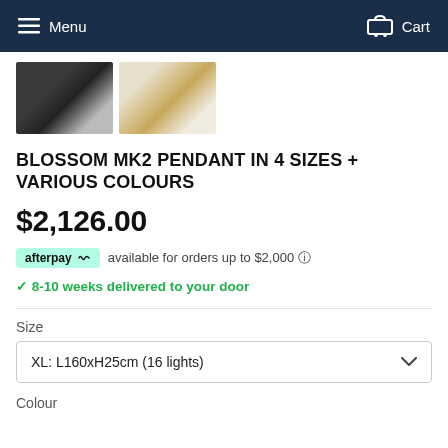Menu   Cart
[Figure (photo): Two product thumbnail images: left shows a dark/black pendant light fixture, right shows a gold/brass coloured pendant light fixture]
BLOSSOM MK2 PENDANT IN 4 SIZES + VARIOUS COLOURS
$2,126.00
afterpay  available for orders up to $2,000 ⓘ
✓ 8-10 weeks delivered to your door
Size
XL: L160xH25cm (16 lights)
Colour